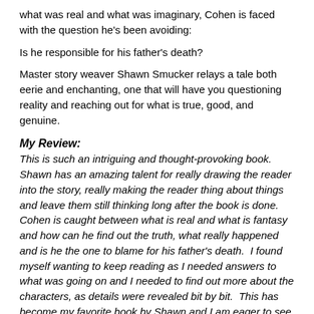what was real and what was imaginary, Cohen is faced with the question he's been avoiding:
Is he responsible for his father's death?
Master story weaver Shawn Smucker relays a tale both eerie and enchanting, one that will have you questioning reality and reaching out for what is true, good, and genuine.
My Review:
This is such an intriguing and thought-provoking book.  Shawn has an amazing talent for really drawing the reader into the story, really making the reader thing about things and leave them still thinking long after the book is done.  Cohen is caught between what is real and what is fantasy and how can he find out the truth, what really happened and is he the one to blame for his father's death.  I found myself wanting to keep reading as I needed answers to what was going on and I needed to find out more about the characters, as details were revealed bit by bit.  This has become my favorite book by Shawn and I am eager to see what he writes next!
Shawn Smucker is the author of the award-winning young adult